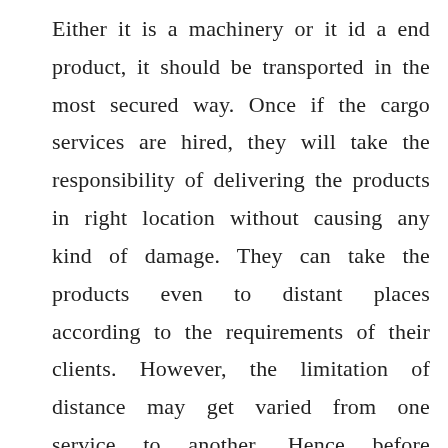Either it is a machinery or it id a end product, it should be transported in the most secured way. Once if the cargo services are hired, they will take the responsibility of delivering the products in right location without causing any kind of damage. They can take the products even to distant places according to the requirements of their clients. However, the limitation of distance may get varied from one service to another. Hence before choosing a cargo service, one can